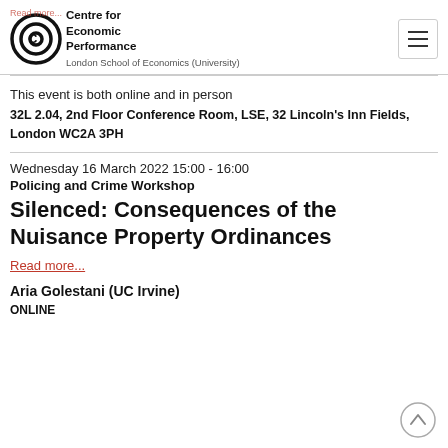Centre for Economic Performance
This event is both online and in person
32L 2.04, 2nd Floor Conference Room, LSE, 32 Lincoln's Inn Fields, London WC2A 3PH
Wednesday 16 March 2022 15:00 - 16:00
Policing and Crime Workshop
Silenced: Consequences of the Nuisance Property Ordinances
Read more...
Aria Golestani (UC Irvine)
ONLINE